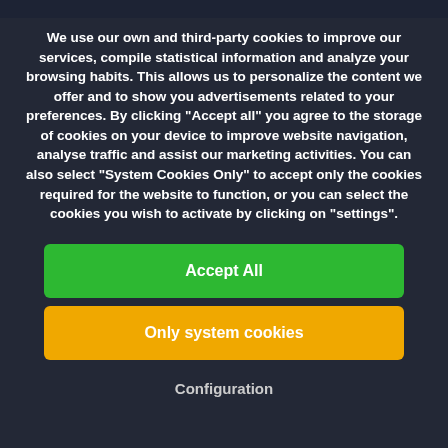We use our own and third-party cookies to improve our services, compile statistical information and analyze your browsing habits. This allows us to personalize the content we offer and to show you advertisements related to your preferences. By clicking "Accept all" you agree to the storage of cookies on your device to improve website navigation, analyse traffic and assist our marketing activities. You can also select "System Cookies Only" to accept only the cookies required for the website to function, or you can select the cookies you wish to activate by clicking on "settings".
Accept All
Only system cookies
Configuration